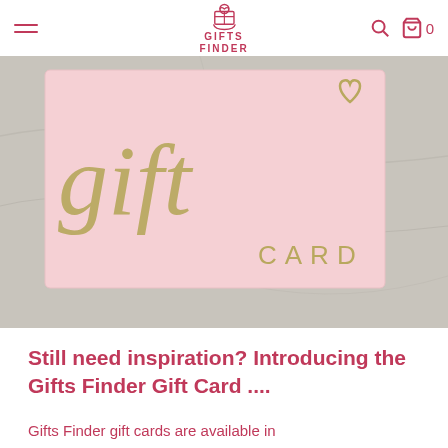GIFTS FINDER
[Figure (photo): A pink gift card with gold script text reading 'gift' and a heart symbol, with 'CARD' printed below, placed on a marble/stone surface background.]
Still need inspiration? Introducing the Gifts Finder Gift Card ....
Gifts Finder gift cards are available in